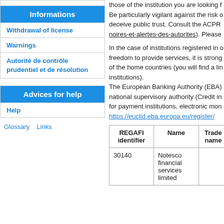Informations
Withdrawal of license
Warnings
Autorité de contrôle prudentiel et de résolution
Advices for help
Help
Glossary
Links
those of the institution you are looking for. Be particularly vigilant against the risk of deceive public trust. Consult the ACPR noires-et-alertes-des-autorites). Please
In the case of institutions registered in other EU member States exercising the freedom to provide services, it is strongly recommended to consult the supervisory authorities of the home countries (you will find a link to those authorities on the page dedicated to those institutions). The European Banking Authority (EBA) also maintains a register of institutions for each national supervisory authority (Credit institutions register). It also publishes the EBA register for payment institutions, electronic money institutions and account information services providers: https://euclid.eba.europa.eu/register/
| REGAFI identifier | Name | Trade name |
| --- | --- | --- |
| 30140 | Notesco financial services limited |  |